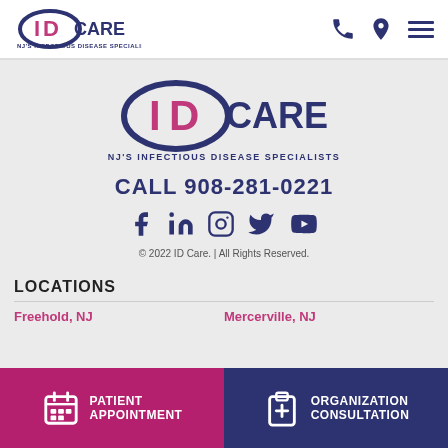[Figure (logo): ID Care logo - NJ's Infectious Disease Specialists header logo]
[Figure (logo): ID Care large center logo with tagline NJ'S INFECTIOUS DISEASE SPECIALISTS]
CALL 908-281-0221
[Figure (other): Social media icons: Facebook, LinkedIn, Instagram, Twitter, YouTube]
© 2022 ID Care. | All Rights Reserved.
LOCATIONS
Freehold, NJ
Mercerville, NJ
PATIENT APPOINTMENT
ORGANIZATION CONSULTATION